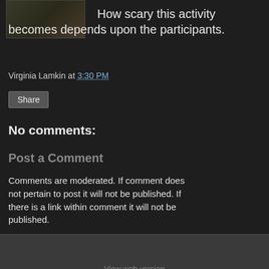[Figure (photo): Partial view of an image/photo at the top left of the page, cropped]
How scary this activity becomes depends upon the participants.
Virginia Lamkin at 3:30 PM
Share
No comments:
Post a Comment
Comments are moderated. If comment does not pertain to post it will not be published. If there is a link within comment it will not be published.
< Home > View web version